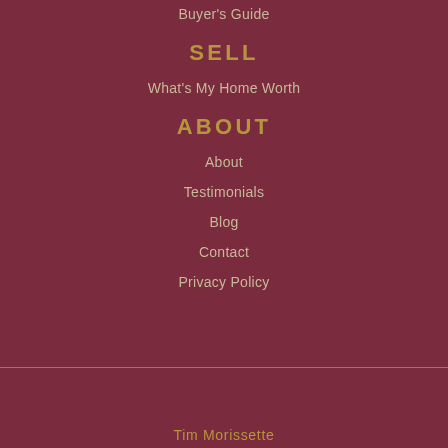Buyer's Guide
SELL
What's My Home Worth
ABOUT
About
Testimonials
Blog
Contact
Privacy Policy
Tim Morissette
Coldwell Banker Realty 840 Newport Center Drive, Suite 100, Newport